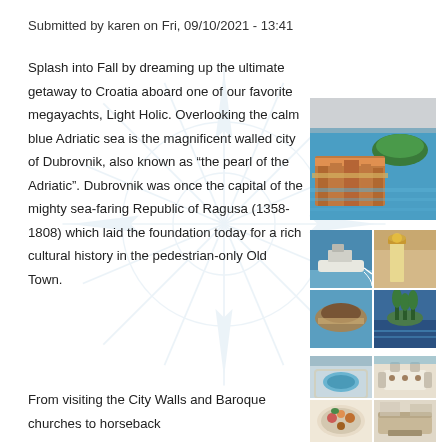Submitted by karen on Fri, 09/10/2021 - 13:41
Splash into Fall by dreaming up the ultimate getaway to Croatia aboard one of our favorite megayachts, Light Holic. Overlooking the calm blue Adriatic sea is the magnificent walled city of Dubrovnik, also known as “the pearl of the Adriatic”. Dubrovnik was once the capital of the mighty sea-faring Republic of Ragusa (1358-1808) which laid the foundation today for a rich cultural history in the pedestrian-only Old Town.
[Figure (photo): Aerial view of Dubrovnik coastline with island and Adriatic sea, terracotta rooftops]
[Figure (photo): Collage of Croatia scenes: megayacht at sea, lighthouse, rocky island, bottle with cypress trees]
[Figure (photo): Collage of yacht interior: jacuzzi deck, outdoor dining, food platter, indoor lounge]
From visiting the City Walls and Baroque churches to horseback